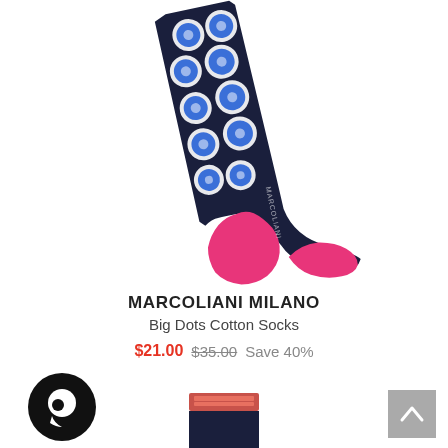[Figure (photo): A single navy blue sock with large blue polka dots outlined in white and hot pink/magenta heel and toe areas. The sock is displayed on a white background at a slight angle. A small 'MARCOLIANI' text label is visible on the side of the sock.]
MARCOLIANI MILANO
Big Dots Cotton Socks
$21.00  $35.00  Save 40%
[Figure (logo): Black circular chat/messenger icon with a white dot inside, representing a customer chat widget.]
[Figure (other): Gray square button with an upward-pointing chevron arrow (scroll-to-top button).]
[Figure (photo): Partial view of another Marcoliani product packaging at the bottom center of the page — a folded sock with red/salmon and dark navy packaging.]